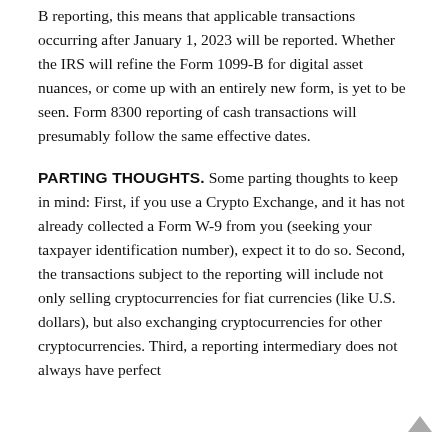B reporting, this means that applicable transactions occurring after January 1, 2023 will be reported. Whether the IRS will refine the Form 1099-B for digital asset nuances, or come up with an entirely new form, is yet to be seen. Form 8300 reporting of cash transactions will presumably follow the same effective dates.
PARTING THOUGHTS. Some parting thoughts to keep in mind: First, if you use a Crypto Exchange, and it has not already collected a Form W-9 from you (seeking your taxpayer identification number), expect it to do so. Second, the transactions subject to the reporting will include not only selling cryptocurrencies for fiat currencies (like U.S. dollars), but also exchanging cryptocurrencies for other cryptocurrencies. Third, a reporting intermediary does not always have perfect